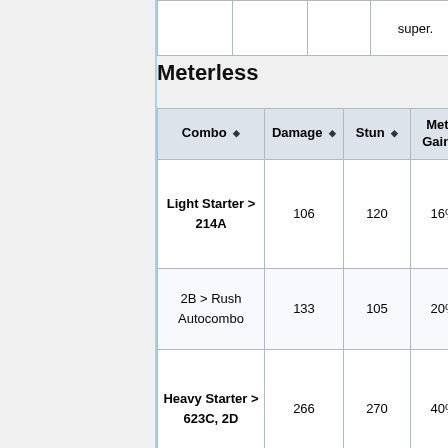|  |  |  | super. |
| --- | --- | --- | --- |
|  |
Meterless
| Combo | Damage | Stun | Meter Gain |
| --- | --- | --- | --- |
| Light Starter > 214A | 106 | 120 | 16% |
| 2B > Rush Autocombo | 133 | 105 | 20% |
| Heavy Starter > 623C, 2D | 266 | 270 | 40% |